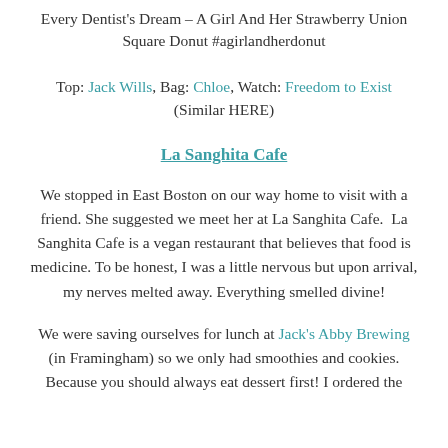Every Dentist's Dream – A Girl And Her Strawberry Union Square Donut #agirlandherdonut
Top: Jack Wills, Bag: Chloe, Watch: Freedom to Exist (Similar HERE)
La Sanghita Cafe
We stopped in East Boston on our way home to visit with a friend. She suggested we meet her at La Sanghita Cafe.  La Sanghita Cafe is a vegan restaurant that believes that food is medicine. To be honest, I was a little nervous but upon arrival, my nerves melted away. Everything smelled divine!
We were saving ourselves for lunch at Jack's Abby Brewing (in Framingham) so we only had smoothies and cookies. Because you should always eat dessert first! I ordered the